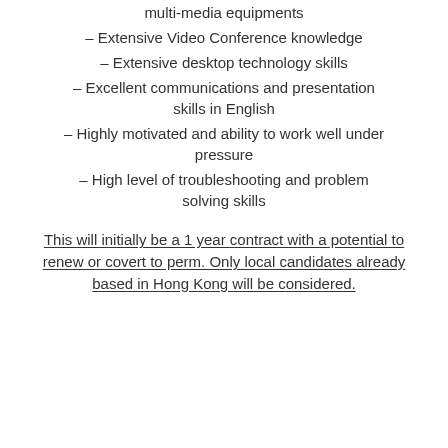– multi-media equipments
– Extensive Video Conference knowledge
– Extensive desktop technology skills
– Excellent communications and presentation skills in English
– Highly motivated and ability to work well under pressure
– High level of troubleshooting and problem solving skills
This will initially be a 1 year contract with a potential to renew or covert to perm. Only local candidates already based in Hong Kong will be considered.